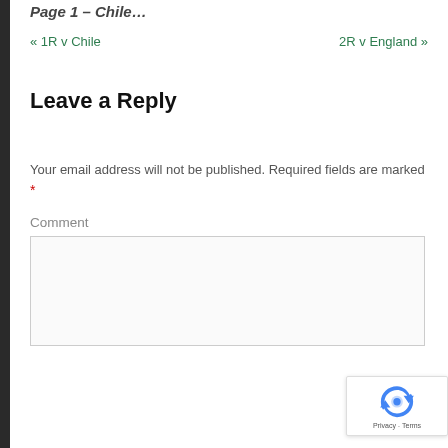Page 1 - Title (partial)
« 1R v Chile
2R v England »
Leave a Reply
Your email address will not be published. Required fields are marked *
Comment
[Figure (other): reCAPTCHA badge with Privacy and Terms links]